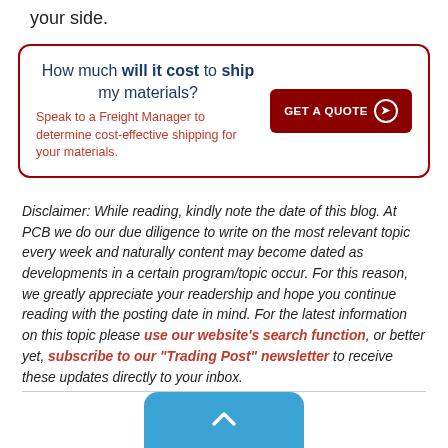your side.
How much will it cost to ship my materials?
Speak to a Freight Manager to determine cost-effective shipping for your materials.
Disclaimer: While reading, kindly note the date of this blog. At PCB we do our due diligence to write on the most relevant topic every week and naturally content may become dated as developments in a certain program/topic occur. For this reason, we greatly appreciate your readership and hope you continue reading with the posting date in mind. For the latest information on this topic please use our website's search function, or better yet, subscribe to our "Trading Post" newsletter to receive these updates directly to your inbox.